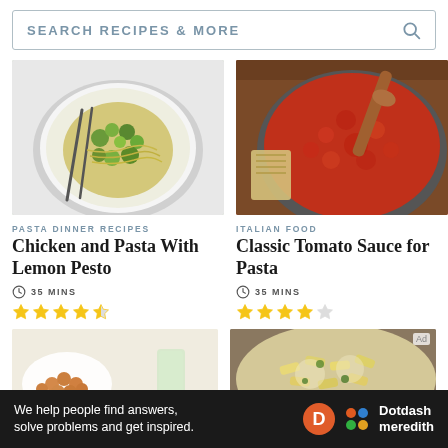SEARCH RECIPES & MORE
[Figure (photo): Plate of spaghetti with green pesto, peas and broccoli, with two forks]
PASTA DINNER RECIPES
Chicken and Pasta With Lemon Pesto
35 MINS
4.5 stars rating
[Figure (photo): Large pot of classic red tomato sauce with a wooden spoon and pasta beside it]
ITALIAN FOOD
Classic Tomato Sauce for Pasta
35 MINS
4 stars rating
[Figure (photo): Partial view of food with small round snacks and a glass of water]
[Figure (photo): Partial view of penne pasta dish with cream sauce and herbs]
We help people find answers, solve problems and get inspired.
Dotdash meredith